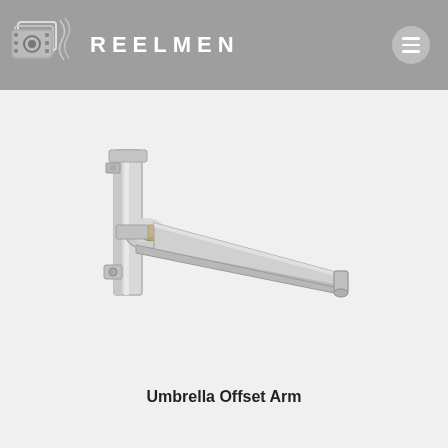REELMEN
[Figure (photo): A silver/chrome umbrella offset arm bracket — a wall-mounted metal arm assembly used for mounting umbrellas or lighting equipment. The arm extends diagonally to the right from a vertical mounting post, with mechanical joint hardware visible near the mounting point.]
Umbrella Offset Arm